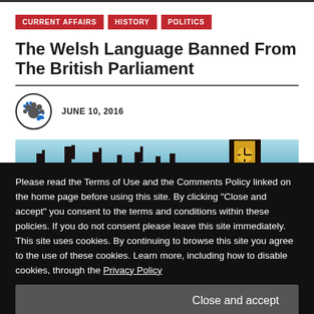CURRENT AFFAIRS   HISTORY   POLITICS
The Welsh Language Banned From The British Parliament
JUNE 10, 2016
[Figure (photo): Silhouette of the British Parliament (Westminster) against a blue sky, with Big Ben visible on the right]
Please read the Terms of Use and the Comments Policy linked on the home page before using this site. By clicking "Close and accept" you consent to the terms and conditions within these policies. If you do not consent please leave this site immediately. This site uses cookies. By continuing to browse this site you agree to the use of these cookies. Learn more, including how to disable cookies, through the Privacy Policy
Major, proclaiming the United Kingdom of